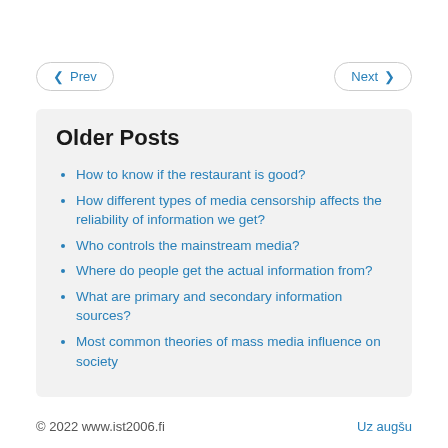Prev
Next
Older Posts
How to know if the restaurant is good?
How different types of media censorship affects the reliability of information we get?
Who controls the mainstream media?
Where do people get the actual information from?
What are primary and secondary information sources?
Most common theories of mass media influence on society
© 2022 www.ist2006.fi
Uz augšu